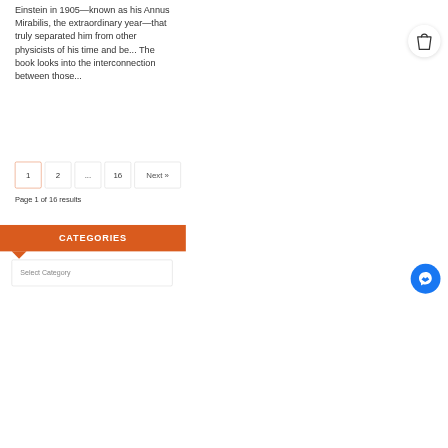Einstein in 1905—known as his Annus Mirabilis, the extraordinary year—that truly separated him from other physicists of his time and be... The book looks into the interconnection between those...
[Figure (illustration): Shopping bag icon in a white circular button overlay in the top-right area]
1  2  ...  16  Next »
Page 1 of 16 results
CATEGORIES
Select Category
[Figure (illustration): Blue circular Messenger chat icon button in the bottom-right corner]